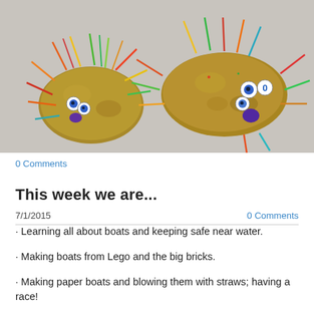[Figure (photo): Two potatoes decorated with colorful toothpick/straw spines, googly eyes, and small pom-poms to look like hedgehog creatures, placed on a gray surface.]
0 Comments
This week we are...
7/1/2015
0 Comments
· Learning all about boats and keeping safe near water.
· Making boats from Lego and the big bricks.
· Making paper boats and blowing them with straws; having a race!